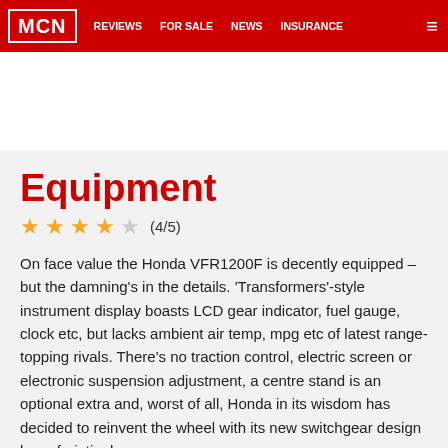MCN  REVIEWS  FOR SALE  NEWS  INSURANCE
Equipment
(4/5)
On face value the Honda VFR1200F is decently equipped – but the damning's in the details. 'Transformers'-style instrument display boasts LCD gear indicator, fuel gauge, clock etc, but lacks ambient air temp, mpg etc of latest range-topping rivals. There's no traction control, electric screen or electronic suspension adjustment, a centre stand is an optional extra and, worst of all, Honda in its wisdom has decided to reinvent the wheel with its new switchgear design by enfuriatingly